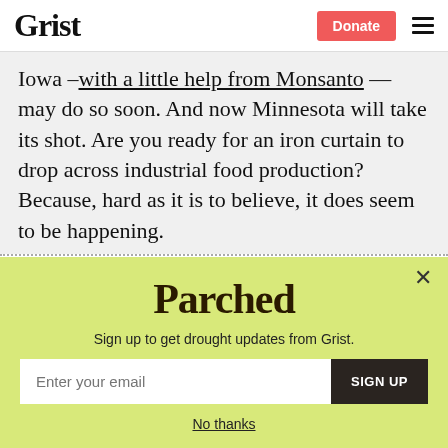Grist | Donate
Iowa –with a little help from Monsanto — may do so soon. And now Minnesota will take its shot. Are you ready for an iron curtain to drop across industrial food production? Because, hard as it is to believe, it does seem to be happening.
[Figure (other): Parchea newsletter signup modal with yellow-green background. Contains 'Parched' logo text, subtitle 'Sign up to get drought updates from Grist.', an email input field, a SIGN UP button, and a 'No thanks' link.]